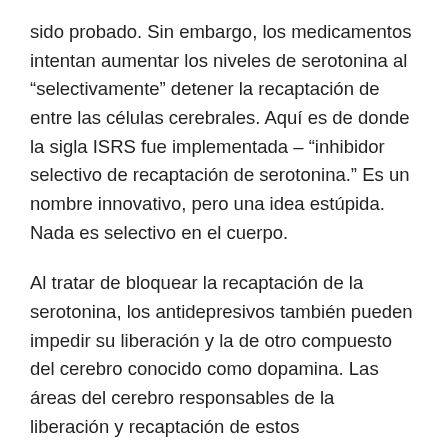sido probado. Sin embargo, los medicamentos intentan aumentar los niveles de serotonina al “selectivamente” detener la recaptación de entre las células cerebrales. Aquí es de donde la sigla ISRS fue implementada – “inhibidor selectivo de recaptación de serotonina.” Es un nombre innovativo, pero una idea estúpida. Nada es selectivo en el cuerpo.
Al tratar de bloquear la recaptación de la serotonina, los antidepresivos también pueden impedir su liberación y la de otro compuesto del cerebro conocido como dopamina. Las áreas del cerebro responsables de la liberación y recaptación de estos neurotransmisores son tan similares (después de todo, trabajan en la misma molécula) que un medicamento antidepresivo no es lo suficientemente inteligente como para entender como funcionan. Así que los dos se ven afectados al administrar el fármaco.